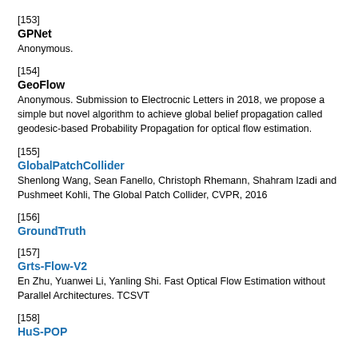[153]
GPNet
Anonymous.
[154]
GeoFlow
Anonymous. Submission to Electrocnic Letters in 2018, we propose a simple but novel algorithm to achieve global belief propagation called geodesic-based Probability Propagation for optical flow estimation.
[155]
GlobalPatchCollider
Shenlong Wang, Sean Fanello, Christoph Rhemann, Shahram Izadi and Pushmeet Kohli, The Global Patch Collider, CVPR, 2016
[156]
GroundTruth
[157]
Grts-Flow-V2
En Zhu, Yuanwei Li, Yanling Shi. Fast Optical Flow Estimation without Parallel Architectures. TCSVT
[158]
HuS-POP